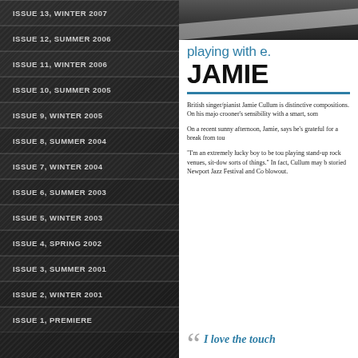ISSUE 13, WINTER 2007
ISSUE 12, SUMMER 2006
ISSUE 11, WINTER 2006
ISSUE 10, SUMMER 2005
ISSUE 9, WINTER 2005
ISSUE 8, SUMMER 2004
ISSUE 7, WINTER 2004
ISSUE 6, SUMMER 2003
ISSUE 5, WINTER 2003
ISSUE 4, SPRING 2002
ISSUE 3, SUMMER 2001
ISSUE 2, WINTER 2001
ISSUE 1, PREMIERE
playing with e. JAMIE
British singer/pianist Jamie Cullum is distinctive compositions. On his majo crooner's sensibility with a smart, som
On a recent sunny afternoon, Jamie, says he's grateful for a break from tou
"I'm an extremely lucky boy to be tou playing stand-up rock venues, sit-dow sorts of things." In fact, Cullum may b storied Newport Jazz Festival and Co blowout.
I love the touch